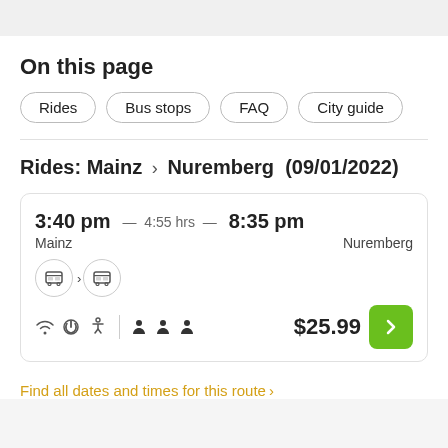On this page
Rides
Bus stops
FAQ
City guide
Rides: Mainz > Nuremberg  (09/01/2022)
| Departure | Duration | Arrival |
| --- | --- | --- |
| 3:40 pm | 4:55 hrs | 8:35 pm |
| Mainz |  | Nuremberg |
$25.99
Find all dates and times for this route >